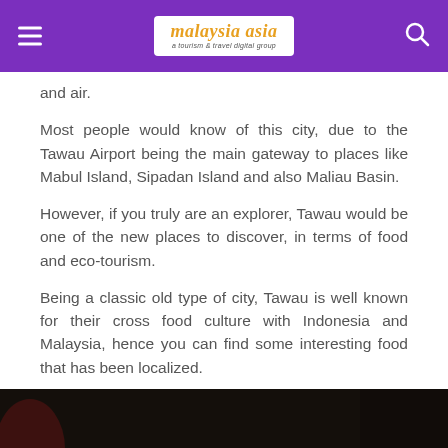Malaysia Asia — a tourism & travel digital group
and air.
Most people would know of this city, due to the Tawau Airport being the main gateway to places like Mabul Island, Sipadan Island and also Maliau Basin.
However, if you truly are an explorer, Tawau would be one of the new places to discover, in terms of food and eco-tourism.
Being a classic old type of city, Tawau is well known for their cross food culture with Indonesia and Malaysia, hence you can find some interesting food that has been localized.
[Figure (photo): Photo of local Tawau food dishes on blue plates including fried egg/omelette with sambal, fried snacks, and other local foods. Watermark: http://malaysia-asia.my]